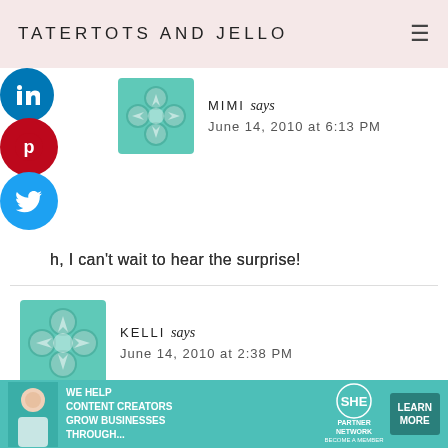TATERTOTS AND JELLO
MIMI says
June 14, 2010 at 6:13 PM
Oh, I can't wait to hear the surprise!
KELLI says
June 14, 2010 at 2:38 PM
Flake....I beg to differ silly. That Hudson is just adorable
[Figure (screenshot): SHE Partner Network advertisement banner at the bottom of the page]